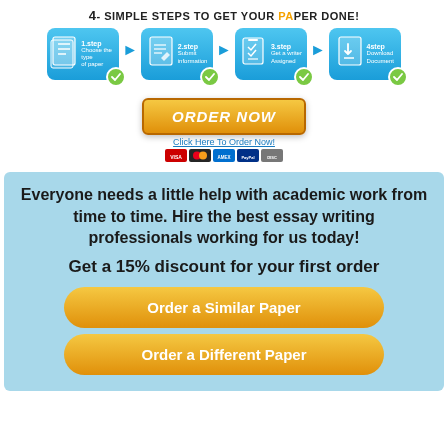[Figure (infographic): 4 simple steps to get your paper done: 1.step Choose the type of paper, 2.step Submit information, 3.step Get a writer Assigned, 4.step Download Document. Each step shown as a blue rounded box with icon and green checkmark, connected by arrows.]
[Figure (infographic): ORDER NOW button in orange/yellow gradient with italic text, Click Here To Order Now text below, and payment icons (Visa, Mastercard, etc.)]
Everyone needs a little help with academic work from time to time. Hire the best essay writing professionals working for us today!

Get a 15% discount for your first order
Order a Similar Paper
Order a Different Paper